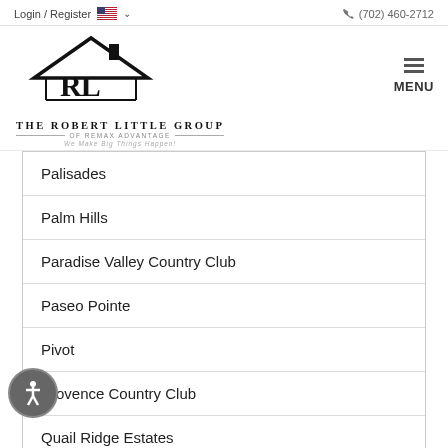Login / Register  (702) 460-2712
[Figure (logo): The Robert Little Group of Remax Advantage logo with house icon and tagline 'We Make Big Things Happen!']
Palisades
Palm Hills
Paradise Valley Country Club
Paseo Pointe
Pivot
Provence Country Club
Quail Ridge Estates
Remington